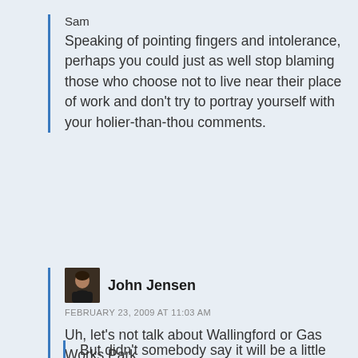Sam
Speaking of pointing fingers and intolerance, perhaps you could just as well stop blaming those who choose not to live near their place of work and don't try to portray yourself with your holier-than-thou comments.
John Jensen
FEBRUARY 23, 2009 AT 11:03 AM
Uh, let's not talk about Wallingford or Gas Works Park.